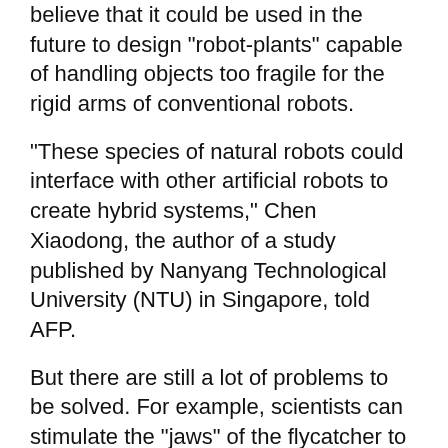believe that it could be used in the future to design "robot-plants" capable of handling objects too fragile for the rigid arms of conventional robots.
"These species of natural robots could interface with other artificial robots to create hybrid systems," Chen Xiaodong, the author of a study published by Nanyang Technological University (NTU) in Singapore, told AFP.
But there are still a lot of problems to be solved. For example, scientists can stimulate the "jaws" of the flycatcher to close, but they cannot yet make it open, a process that in nature takes 10 hours or more.
The system can also detect weak signals emitted by plants, giving rise to the possibility of farmers being alerted at an early stage when their plants are sick.
"By monitoring the electrical signals of plants, we may be able to detect possible distress signals and